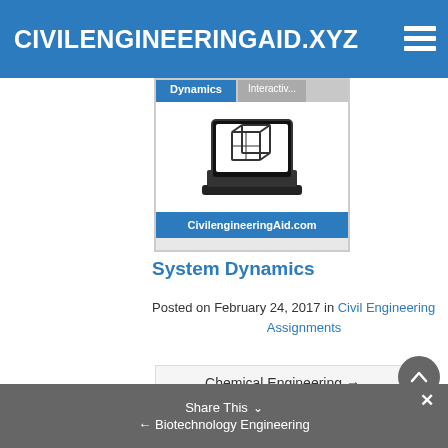CIVILENGINEERINGAID.XYZ
[Figure (screenshot): Book/course cover image showing a laptop with a 3D cube icon, labeled 'Dynamics' tab and 'CivilengineeringAid.com' at the bottom on a blue background]
System Dynamics
Posted on February 24, 2017 in Civil Engineering Assignments
Chemical Engineering →
Share This ∨  ← Biotechnology Engineering